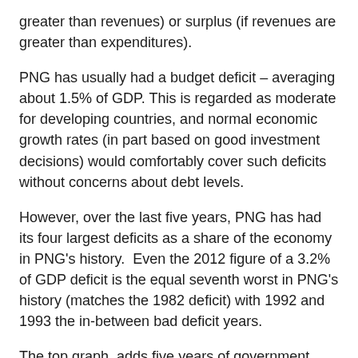greater than revenues) or surplus (if revenues are greater than expenditures).
PNG has usually had a budget deficit – averaging about 1.5% of GDP. This is regarded as moderate for developing countries, and normal economic growth rates (in part based on good investment decisions) would comfortably cover such deficits without concerns about debt levels.
However, over the last five years, PNG has had its four largest deficits as a share of the economy in PNG's history.  Even the 2012 figure of a 3.2% of GDP deficit is the equal seventh worst in PNG's history (matches the 1982 deficit) with 1992 and 1993 the in-between bad deficit years.
The top graph  adds five years of government budget balances as a share of GDP.  The 2012 to 2016 combined deficits of 23.6% of GDP are extraordinarily large – nearly three times higher than the next period on 1992 to 1996 (which included a